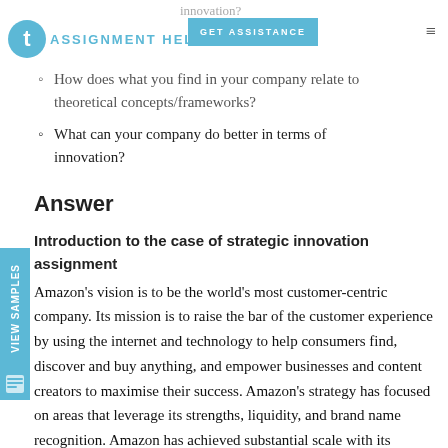AssignmentHelp — GET ASSISTANCE
How does what you find in your company relate to theoretical concepts/frameworks?
What can your company do better in terms of innovation?
Answer
Introduction to the case of strategic innovation assignment
Amazon's vision is to be the world's most customer-centric company. Its mission is to raise the bar of the customer experience by using the internet and technology to help consumers find, discover and buy anything, and empower businesses and content creators to maximise their success. Amazon's strategy has focused on areas that leverage its strengths, liquidity, and brand name recognition. Amazon has achieved substantial scale with its fulfilment model, the volume of goods it manages enables the company to create infrastructure and